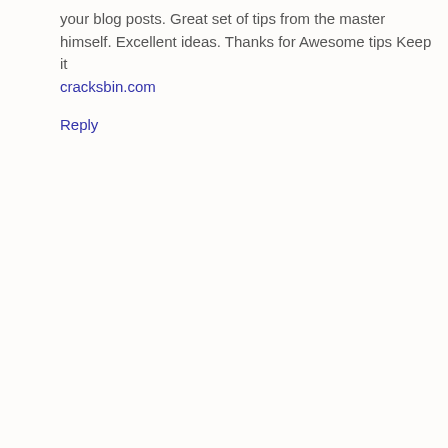your blog posts. Great set of tips from the master himself. Excellent ideas. Thanks for Awesome tips Keep it cracksbin.com
Reply